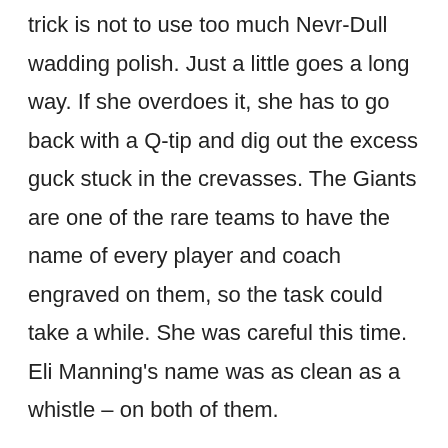trick is not to use too much Nevr-Dull wadding polish. Just a little goes a long way. If she overdoes it, she has to go back with a Q-tip and dig out the excess guck stuck in the crevasses. The Giants are one of the rare teams to have the name of every player and coach engraved on them, so the task could take a while. She was careful this time. Eli Manning's name was as clean as a whistle – on both of them.

A little after 9 a.m., she delivered half of the Giants' crown jewels from the atrium to the fieldhouse. There, she walked into a sea of white